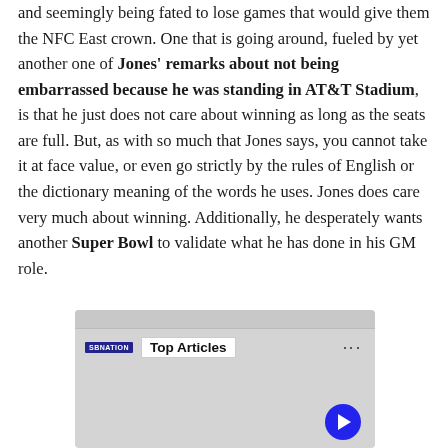and seemingly being fated to lose games that would give them the NFC East crown. One that is going around, fueled by yet another one of Jones' remarks about not being embarrassed because he was standing in AT&T Stadium, is that he just does not care about winning as long as the seats are full. But, as with so much that Jones says, you cannot take it at face value, or even go strictly by the rules of English or the dictionary meaning of the words he uses. Jones does care very much about winning. Additionally, he desperately wants another Super Bowl to validate what he has done in his GM role.
[Figure (screenshot): SB Nation 'Top Articles' widget with a gray background, showing the SB Nation logo, a 'Top Articles' label in a white box, a three-dot menu icon, gray content area, and a blue play button circle at bottom right.]